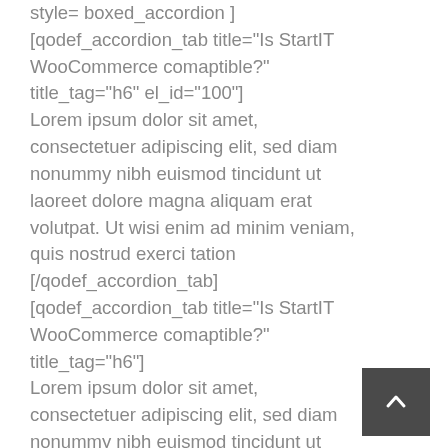style= boxed_accordion ]
[qodef_accordion_tab title="Is StartIT WooCommerce comaptible?" title_tag="h6" el_id="100"]
Lorem ipsum dolor sit amet, consectetuer adipiscing elit, sed diam nonummy nibh euismod tincidunt ut laoreet dolore magna aliquam erat volutpat. Ut wisi enim ad minim veniam, quis nostrud exerci tation
[/qodef_accordion_tab]
[qodef_accordion_tab title="Is StartIT WooCommerce comaptible?" title_tag="h6"]
Lorem ipsum dolor sit amet, consectetuer adipiscing elit, sed diam nonummy nibh euismod tincidunt ut laoreet dolore magna aliquam erat volutpat. Ut wisi enim ad minim veniam, quis nostrud exerci tation